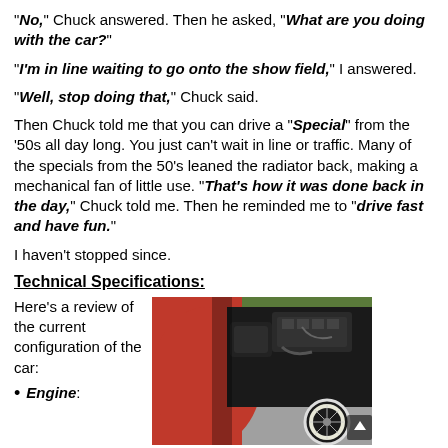“No,” Chuck answered.  Then he asked, “What are you doing with the car?”
“I’m in line waiting to go onto the show field,” I answered.
“Well, stop doing that,” Chuck said.
Then Chuck told me that you can drive a “Special” from the ’50s all day long.  You just can’t wait in line or traffic.  Many of the specials from the 50’s leaned the radiator back, making a mechanical fan of little use.  “That’s how it was done back in the day,”  Chuck told me.  Then he reminded me to “drive fast and have fun.”
I haven’t stopped since.
Technical Specifications:
Here’s a review of the current configuration of the car:
[Figure (photo): Photo of a vintage car engine bay, showing a red car body, engine components, and a wire-spoke wheel with white wall tire.]
Engine: